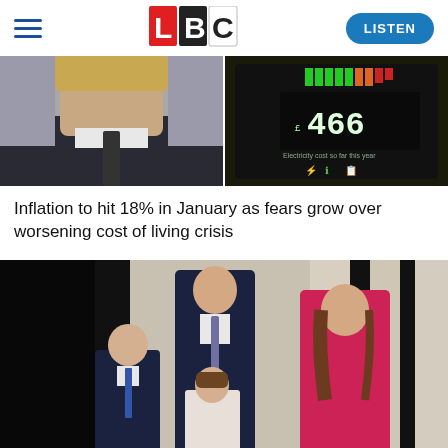LBC — LISTEN
[Figure (photo): Two photos side by side: left shows a man in a suit (chin/neck visible, blond hair), right shows an energy meter display reading £466]
Inflation to hit 18% in January as fears grow over worsening cost of living crisis
[Figure (photo): Photo of Prince William, Prince George, Princess Charlotte, and Kate Middleton (in pink) standing on a balcony]